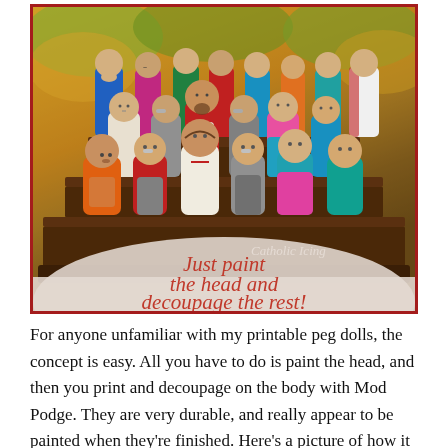[Figure (photo): Photograph of painted wooden peg dolls arranged on a dark wooden tiered shelf, depicting religious figures. Autumn foliage in background. Red border frame. Overlay banner with italic red text: 'Just paint the head and decoupage the rest!' Watermark reading 'Catholic Icing' in white italic text.]
For anyone unfamiliar with my printable peg dolls, the concept is easy. All you have to do is paint the head, and then you print and decoupage on the body with Mod Podge. They are very durable, and really appear to be painted when they're finished. Here's a picture of how it